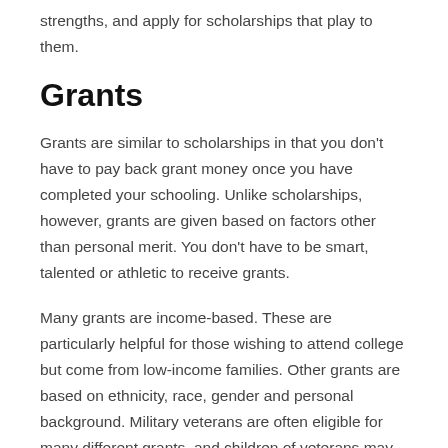strengths, and apply for scholarships that play to them.
Grants
Grants are similar to scholarships in that you don't have to pay back grant money once you have completed your schooling. Unlike scholarships, however, grants are given based on factors other than personal merit. You don't have to be smart, talented or athletic to receive grants.
Many grants are income-based. These are particularly helpful for those wishing to attend college but come from low-income families. Other grants are based on ethnicity, race, gender and personal background. Military veterans are often eligible for many different grants, and children of veterans may also be eligible for specific grants thanks to the service of their parents. Grants are